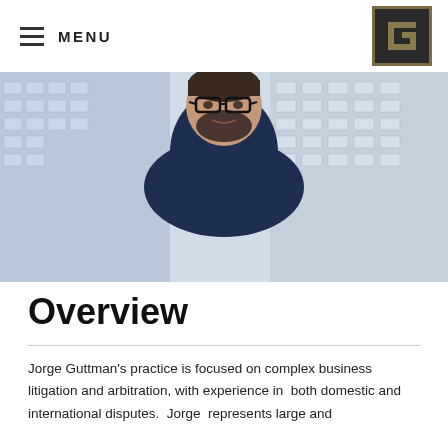MENU
[Figure (logo): Law firm logo: gold-bordered dark square with stylized letter G]
[Figure (photo): Professional headshot of Jorge Guttman, a man with glasses and a beard wearing a navy blue suit and blue tie, with a city building background]
Overview
Jorge Guttman's practice is focused on complex business litigation and arbitration, with experience in both domestic and international disputes. Jorge represents large and